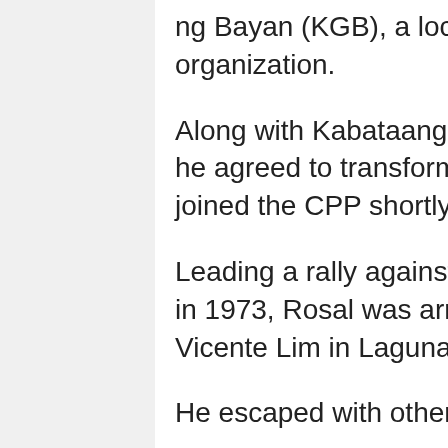ng Bayan (KGB), a local nationalist youth organization.
Along with Kabataang Gabay ng Bayan comrades, he agreed to transform it into a KM chapter. He joined the CPP shortly after.
Leading a rally against the Batangas Sugar Central in 1973, Rosal was arrested and jailed at Camp Vicente Lim in Laguna.
He escaped with other political detainees in a